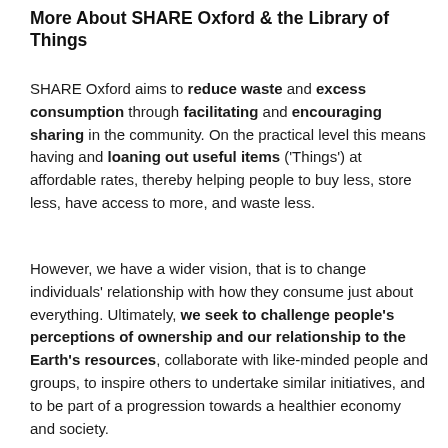More About SHARE Oxford & the Library of Things
SHARE Oxford aims to reduce waste and excess consumption through facilitating and encouraging sharing in the community. On the practical level this means having and loaning out useful items ('Things') at affordable rates, thereby helping people to buy less, store less, have access to more, and waste less.
However, we have a wider vision, that is to change individuals' relationship with how they consume just about everything. Ultimately, we seek to challenge people's perceptions of ownership and our relationship to the Earth's resources, collaborate with like-minded people and groups, to inspire others to undertake similar initiatives, and to be part of a progression towards a healthier economy and society.